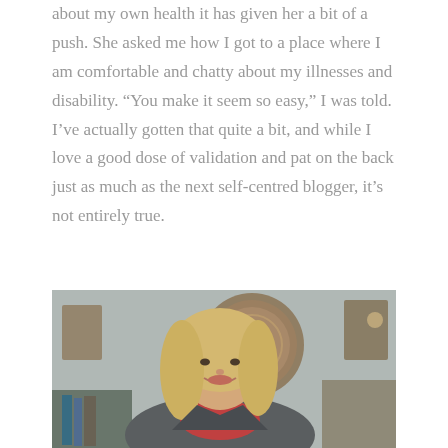illness and how it affects her, and because I am so open about my own health it has given her a bit of a push. She asked me how I got to a place where I am comfortable and chatty about my illnesses and disability. “You make it seem so easy,” I was told. I’ve actually gotten that quite a bit, and while I love a good dose of validation and pat on the back just as much as the next self-centred blogger, it’s not entirely true.
[Figure (photo): A smiling blonde woman in a grey blazer and red top, seated in what appears to be a government or official office setting with a large circular seal on the wall behind her and framed pictures/medals visible in the background.]